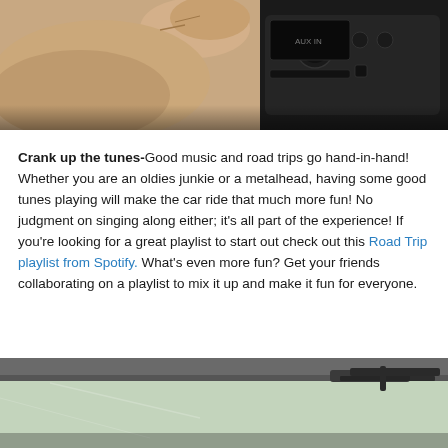[Figure (photo): Close-up of a hand pressing a button on a car stereo/audio system dashboard]
Crank up the tunes-Good music and road trips go hand-in-hand! Whether you are an oldies junkie or a metalhead, having some good tunes playing will make the car ride that much more fun! No judgment on singing along either; it's all part of the experience! If you're looking for a great playlist to start out check out this Road Trip playlist from Spotify. What's even more fun? Get your friends collaborating on a playlist to mix it up and make it fun for everyone.
[Figure (photo): Close-up of a car windshield and wiper from outside, showing the glass and roof edge]